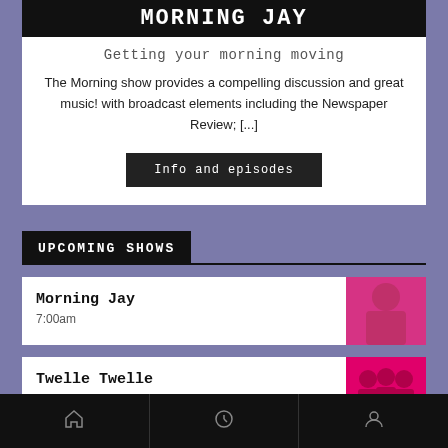MORNING JAY
Getting your morning moving
The Morning show provides a compelling discussion and great music! with broadcast elements including the Newspaper Review; [...]
Info and episodes
UPCOMING SHOWS
Morning Jay
7:00am
Twelle Twelle
10:30am